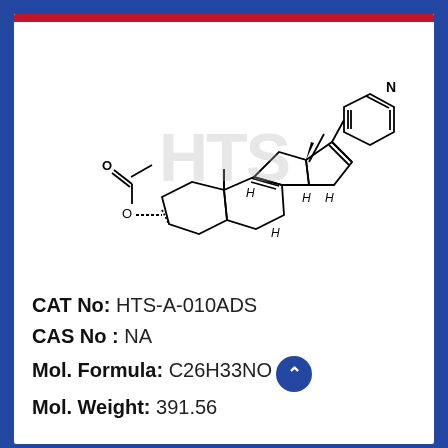[Figure (schematic): Chemical structure of a steroid compound with a pyridine ring attached at C17 and an acetate ester group at C3. The steroid backbone shows H stereochemistry markers and a double bond. Watermark 'HTS' overlaid on the structure.]
CAT No: HTS-A-010ADS
CAS No : NA
Mol. Formula: C26H33NO2
Mol. Weight: 391.56